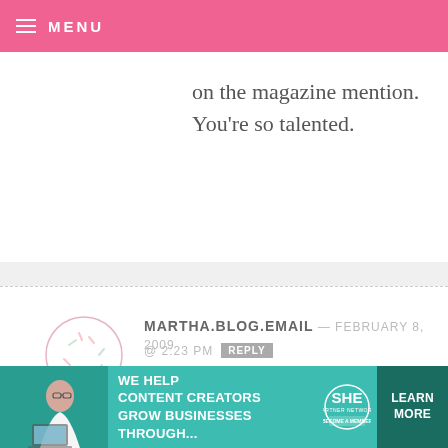MENU
on the magazine mention. You're so talented.
MARTHA.BLOG.EMAIL — FEBRUARY 8, 2009 @ 2:23 PM REPLY
Congratulations! Pink apron, please.
martha.blog.email@gmail.com
THE BERTONE'S — FEBRUARY 8, 2009 @ 2:22 PM REPLY
[Figure (infographic): SHE Partner Network advertisement banner: 'We help content creators grow businesses through...' with Learn More button]